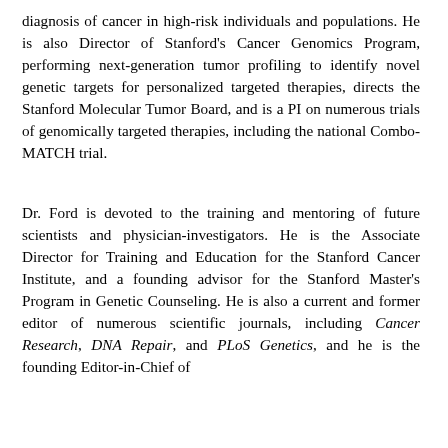diagnosis of cancer in high-risk individuals and populations. He is also Director of Stanford's Cancer Genomics Program, performing next-generation tumor profiling to identify novel genetic targets for personalized targeted therapies, directs the Stanford Molecular Tumor Board, and is a PI on numerous trials of genomically targeted therapies, including the national Combo-MATCH trial.
Dr. Ford is devoted to the training and mentoring of future scientists and physician-investigators. He is the Associate Director for Training and Education for the Stanford Cancer Institute, and a founding advisor for the Stanford Master's Program in Genetic Counseling. He is also a current and former editor of numerous scientific journals, including Cancer Research, DNA Repair, and PLoS Genetics, and he is the founding Editor-in-Chief of